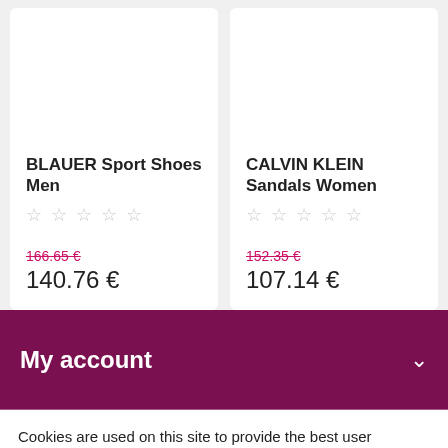BLAUER Sport Shoes Men
☆☆☆☆☆
166.65 €
140.76 €
CALVIN KLEIN Sandals Women
☆☆☆☆☆
152.35 €
107.14 €
My account
Cookies are used on this site to provide the best user experience. If you continue, we assume that you agree to receive cookies from this site.